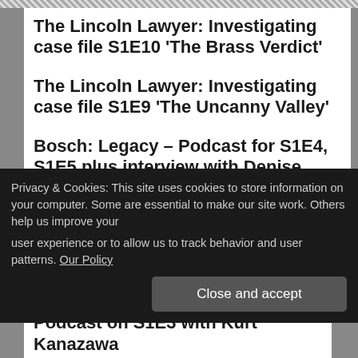The Lincoln Lawyer: Investigating case file S1E10 ‘The Brass Verdict’
The Lincoln Lawyer: Investigating case file S1E9 ‘The Uncanny Valley’
Bosch: Legacy – Podcast for S1E4, S1E5 plus interview with Denise Sanchez
The Lincoln Lawyer: Podcast for S1E3
Privacy & Cookies: This site uses cookies to store information on your computer. Some are essential to make our site work. Others help us improve your user experience or to allow us to track behavior and user patterns. Our Policy
Podcast on S1E3 with Kurt Kanazawa